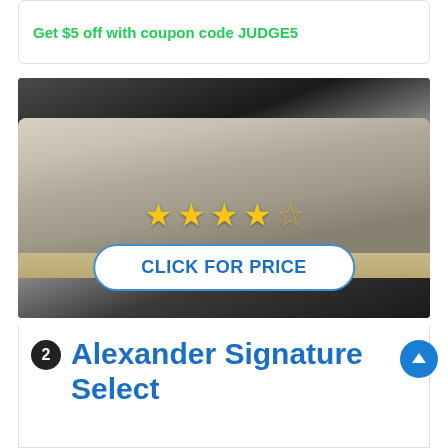Get $5 off with coupon code JUDGE5
[Figure (photo): Photo of a white tufted mattress on a bed frame in a dark room, with 4 out of 5 yellow stars overlay and a 'CLICK FOR PRICE' button overlay]
2 Alexander Signature Select